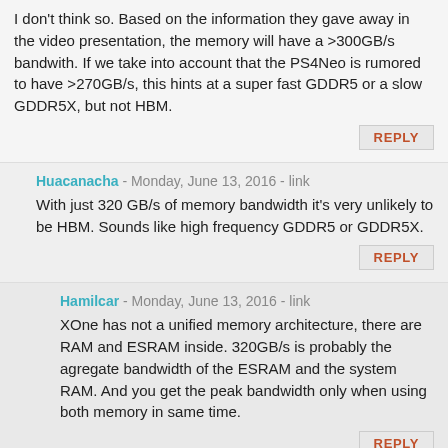I don't think so. Based on the information they gave away in the video presentation, the memory will have a >300GB/s bandwith. If we take into account that the PS4Neo is rumored to have >270GB/s, this hints at a super fast GDDR5 or a slow GDDR5X, but not HBM.
Huacanacha - Monday, June 13, 2016 - link
With just 320 GB/s of memory bandwidth it's very unlikely to be HBM. Sounds like high frequency GDDR5 or GDDR5X.
Hamilcar - Monday, June 13, 2016 - link
XOne has not a unified memory architecture, there are RAM and ESRAM inside. 320GB/s is probably the agregate bandwidth of the ESRAM and the system RAM. And you get the peak bandwidth only when using both memory in same time.
Huacanacha - Monday, June 13, 2016 - link
The ESRAM was to partially make up for the slow (for graphics) DDR3 system RAM. I doubt Scorpio would use ESRAM, since they will probably adopt fast GDDR5+